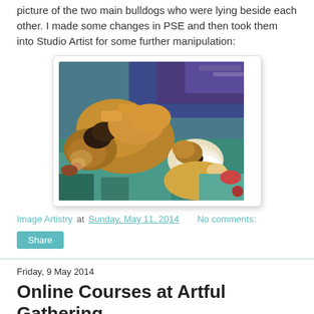picture of the two main bulldogs who were lying beside each other.  I made some changes in PSE and then took them into Studio Artist for some further manipulation:
[Figure (illustration): Painterly artistic rendering of two bulldogs lying beside each other, with impressionistic brush strokes in browns, golds, blues and teals. The dogs appear relaxed on a colorful surface.]
Image Artistry at Sunday, May 11, 2014  No comments:
Share
Friday, 9 May 2014
Online Courses at Artful Gathering